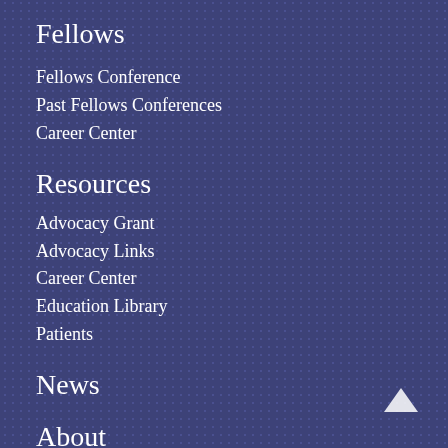Fellows
Fellows Conference
Past Fellows Conferences
Career Center
Resources
Advocacy Grant
Advocacy Links
Career Center
Education Library
Patients
News
About
Leadership
Past Presidents
Corporate Donors
Contact Us